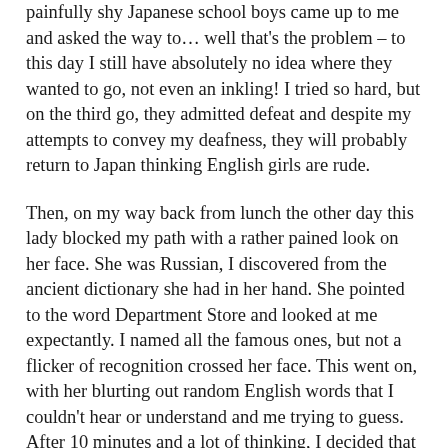painfully shy Japanese school boys came up to me and asked the way to… well that's the problem – to this day I still have absolutely no idea where they wanted to go, not even an inkling! I tried so hard, but on the third go, they admitted defeat and despite my attempts to convey my deafness, they will probably return to Japan thinking English girls are rude.
Then, on my way back from lunch the other day this lady blocked my path with a rather pained look on her face. She was Russian, I discovered from the ancient dictionary she had in her hand. She pointed to the word Department Store and looked at me expectantly. I named all the famous ones, but not a flicker of recognition crossed her face. This went on, with her blurting out random English words that I couldn't hear or understand and me trying to guess. After 10 minutes and a lot of thinking, I decided that she might need the toilet… and Bullseye that was it. But unable to say it in Russian, I decided it would just be easier to take her to the nearest one, which was 10 minutes away, and pray she wasn't as desperate as she looked.
But, in a way, I rather like that people stop and ask me things